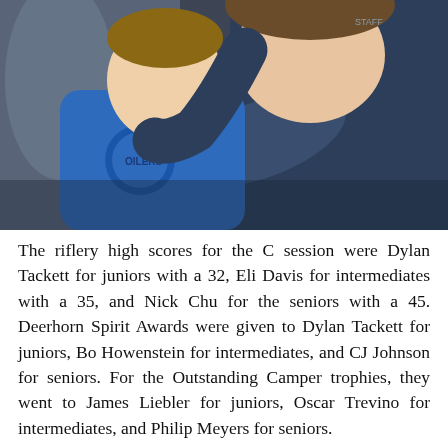[Figure (photo): A close-up photograph of two children hugging. A smaller child wearing a blue shirt with an Oilers logo is being embraced and kissed on the head by an older child wearing a dark navy blue shirt with 'STAFF' text visible. The background is blurred and dark.]
The riflery high scores for the C session were Dylan Tackett for juniors with a 32, Eli Davis for intermediates with a 35, and Nick Chu for the seniors with a 45. Deerhorn Spirit Awards were given to Dylan Tackett for juniors, Bo Howenstein for intermediates, and CJ Johnson for seniors. For the Outstanding Camper trophies, they went to James Liebler for juniors, Oscar Trevino for intermediates, and Philip Meyers for seniors.